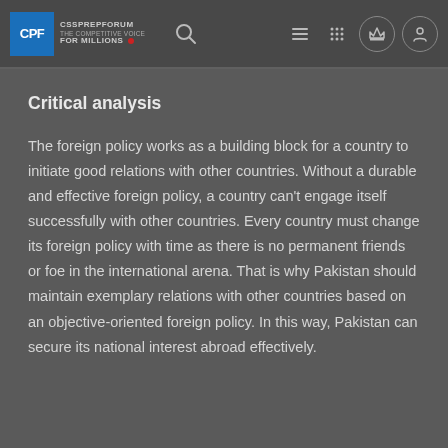CSSPREPFORUM THE COMPETITIVE VOICE FOR MILLIONS — CPF logo header with search and navigation icons
Critical analysis
The foreign policy works as a building block for a country to initiate good relations with other countries. Without a durable and effective foreign policy, a country can't engage itself successfully with other countries. Every country must change its foreign policy with time as there is no permanent friends or foe in the international arena. That is why Pakistan should maintain exemplary relations with other countries based on an objective-oriented foreign policy. In this way, Pakistan can secure its national interest abroad effectively.